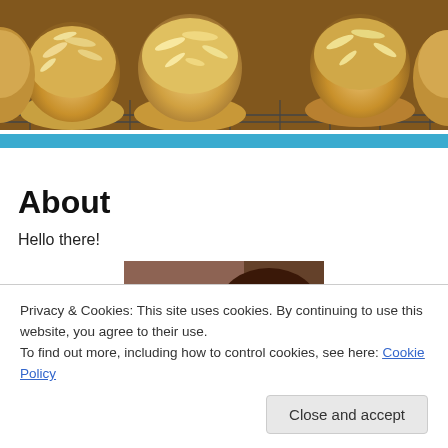[Figure (photo): Close-up photo of golden almond-topped muffins on a baking rack]
About
Hello there!
[Figure (photo): Photo of a person peeking upward, partially visible face with long dark hair]
Privacy & Cookies: This site uses cookies. By continuing to use this website, you agree to their use.
To find out more, including how to control cookies, see here: Cookie Policy
Close and accept